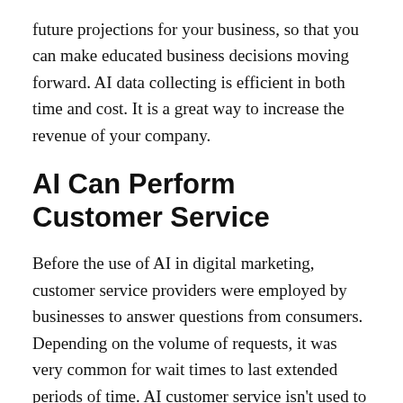future projections for your business, so that you can make educated business decisions moving forward. AI data collecting is efficient in both time and cost. It is a great way to increase the revenue of your company.
AI Can Perform Customer Service
Before the use of AI in digital marketing, customer service providers were employed by businesses to answer questions from consumers. Depending on the volume of requests, it was very common for wait times to last extended periods of time. AI customer service isn't used to replace the jobs of customer service providers. It exists to reduce wait times for consumers that have common questions about the given service. While QNA pages are helpful for most companies, specific services such as those that provide healthcare